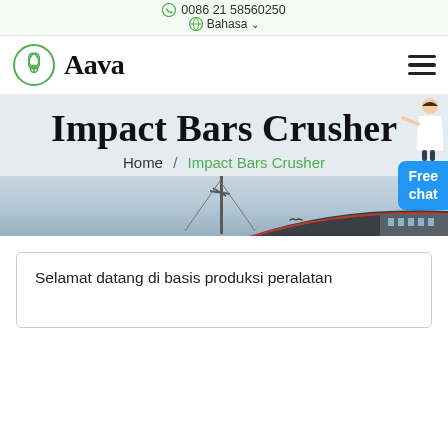0086 21 58560250
Bahasa
[Figure (logo): Aava logo with green circular plant/leaf emblem and bold serif text 'Aava']
Impact Bars Crusher
Home / Impact Bars Crusher
[Figure (photo): Background image showing industrial building with dark roof with red stripe and a communications antenna tower, sky background]
Selamat datang di basis produksi peralatan